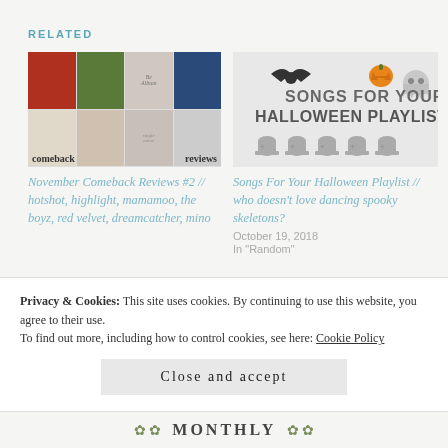RELATED
[Figure (photo): Album collage grid with 'comeback reviews' text overlay]
[Figure (illustration): Halloween playlist graphic with pumpkin, bat, ghost, tombstones and text 'Songs For Your Halloween Playlist']
November Comeback Reviews #2 // hotshot, highlight, mamamoo, the boyz, red velvet, dreamcatcher, mino
Songs For Your Halloween Playlist // who doesn't love dancing spooky skeletons?
October 19, 2018
In "Random"
Privacy & Cookies: This site uses cookies. By continuing to use this website, you agree to their use.
To find out more, including how to control cookies, see here: Cookie Policy
Close and accept
Monthly